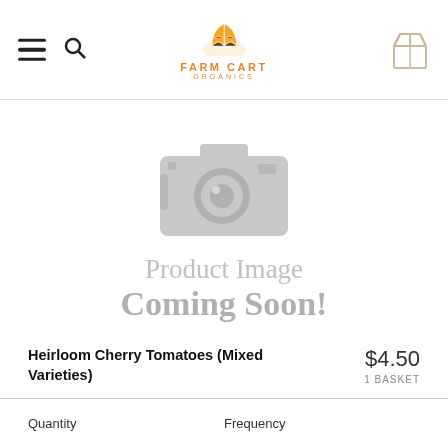Farm Cart Organics — navigation header with hamburger menu, search icon, logo, and cart icon
[Figure (illustration): Camera icon placeholder with text 'Product Image Coming Soon!']
Heirloom Cherry Tomatoes (Mixed Varieties)
$4.50
1 BASKET
Quantity
Frequency